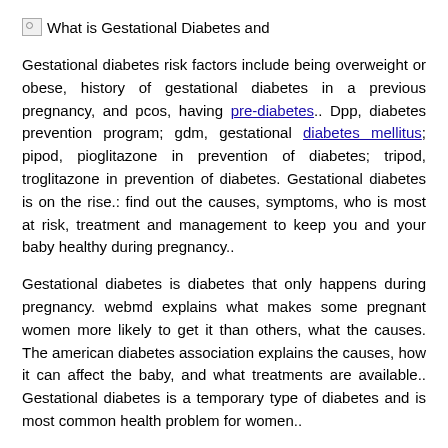[Figure (other): Broken image placeholder with alt text 'What is Gestational Diabetes and']
Gestational diabetes risk factors include being overweight or obese, history of gestational diabetes in a previous pregnancy, and pcos, having pre-diabetes.. Dpp, diabetes prevention program; gdm, gestational diabetes mellitus; pipod, pioglitazone in prevention of diabetes; tripod, troglitazone in prevention of diabetes. Gestational diabetes is on the rise.: find out the causes, symptoms, who is most at risk, treatment and management to keep you and your baby healthy during pregnancy..
Gestational diabetes is diabetes that only happens during pregnancy. webmd explains what makes some pregnant women more likely to get it than others, what the causes. The american diabetes association explains the causes, how it can affect the baby, and what treatments are available.. Gestational diabetes is a temporary type of diabetes and is most common health problem for women..